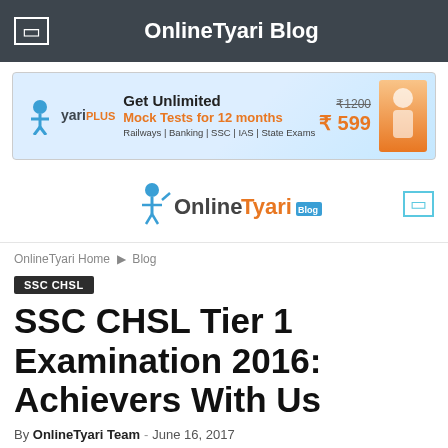OnlineTyari Blog
[Figure (infographic): TyariPLUS ad banner: Get Unlimited Mock Tests for 12 months. Railways | Banking | SSC | IAS | State Exams. Price: ₹1200 struck through, ₹599.]
[Figure (logo): OnlineTyari Blog logo with stylized student icon]
OnlineTyari Home  ▸  Blog
SSC CHSL
SSC CHSL Tier 1 Examination 2016: Achievers With Us
By OnlineTyari Team - June 16, 2017